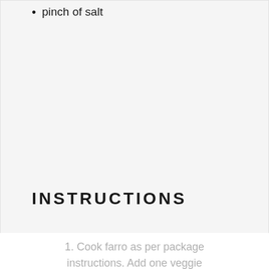pinch of salt
INSTRUCTIONS
1. Cook farro as per package instructions. Add one veggie